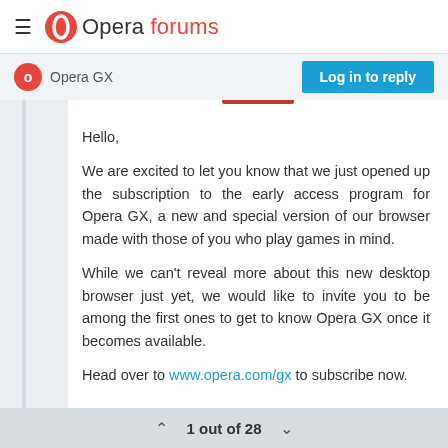Opera forums
Opera GX
Log in to reply
Hello,

We are excited to let you know that we just opened up the subscription to the early access program for Opera GX, a new and special version of our browser made with those of you who play games in mind.

While we can't reveal more about this new desktop browser just yet, we would like to invite you to be among the first ones to get to know Opera GX once it becomes available.

Head over to www.opera.com/gx to subscribe now.
1 out of 28